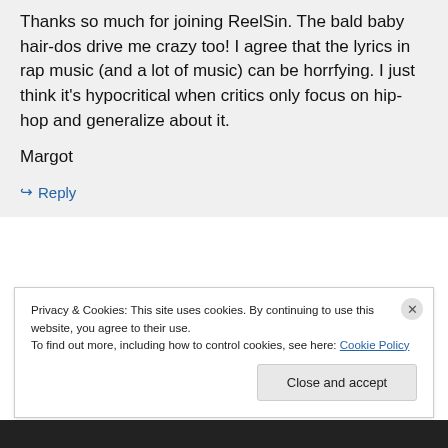Thanks so much for joining ReelSin. The bald baby hair-dos drive me crazy too! I agree that the lyrics in rap music (and a lot of music) can be horrfying. I just think it's hypocritical when critics only focus on hip-hop and generalize about it.
Margot
↳ Reply
Privacy & Cookies: This site uses cookies. By continuing to use this website, you agree to their use. To find out more, including how to control cookies, see here: Cookie Policy
Close and accept